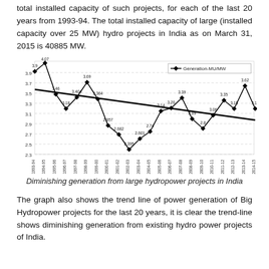total installed capacity of such projects, for each of the last 20 years from 1993-94. The total installed capacity of large (installed capacity over 25 MW) hydro projects in India as on March 31, 2015 is 40885 MW.
[Figure (line-chart): Diminishing generation from large hydropower projects in India]
Diminishing generation from large hydropower projects in India
The graph also shows the trend line of power generation of Big Hydropower projects for the last 20 years, it is clear the trend-line shows diminishing generation from existing hydro power projects of India.